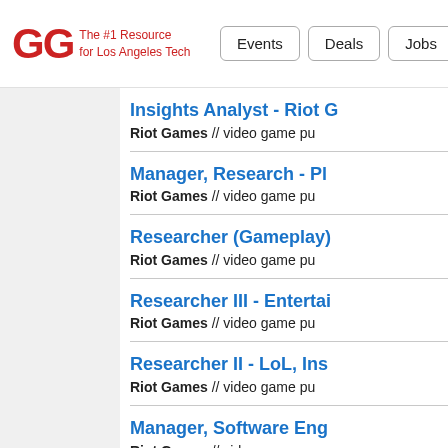GG The #1 Resource for Los Angeles Tech | Events | Deals | Jobs
Insights Analyst - Riot G... | Riot Games // video game pu...
Manager, Research - Pl... | Riot Games // video game pu...
Researcher (Gameplay)... | Riot Games // video game pu...
Researcher III - Entertai... | Riot Games // video game pu...
Researcher II - LoL, Ins... | Riot Games // video game pu...
Manager, Software Eng... | Riot Games // video game pu...